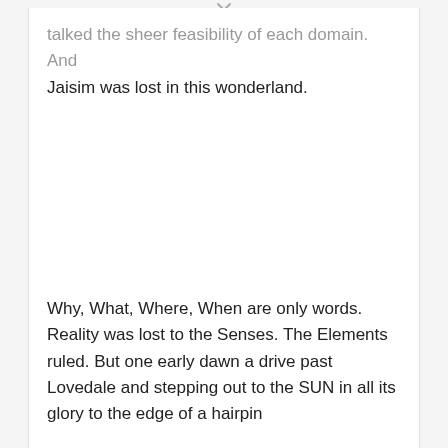talked the sheer feasibility of each domain. And Jaisim was lost in this wonderland.
Why, What, Where, When are only words. Reality was lost to the Senses. The Elements ruled. But one early dawn a drive past Lovedale and stepping out to the SUN in all its glory to the edge of a hairpin